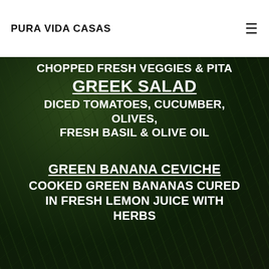PURA VIDA CASAS
CHOPPED FRESH VEGGIES & PITA
GREEK SALAD
DICED TOMATOES, CUCUMBER, OLIVES, FRESH BASIL & OLIVE OIL
GREEN BANANA CEVICHE
COOKED GREEN BANANAS CURED IN FRESH LEMON JUICE WITH HERBS